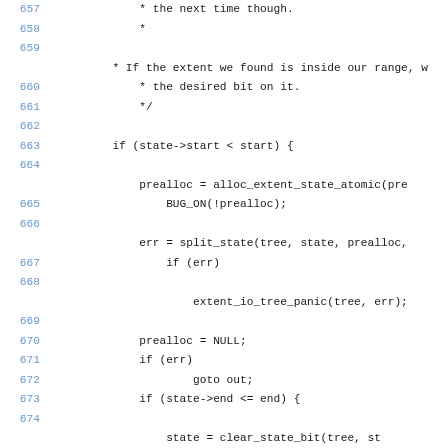Source code listing, lines 657-676, showing C code with comments and control flow including split_state, clear_state_bit, prealloc, BUG_ON, extent_io_tree_panic calls